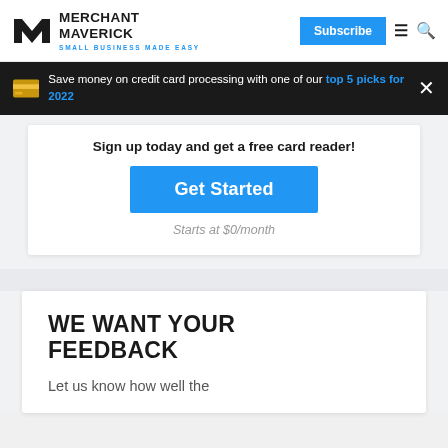Merchant Maverick — SMALL BUSINESS MADE EASY | Subscribe
Save money on credit card processing with one of our top 5 picks for 2022
Sign up today and get a free card reader!
Get Started
Starts at $0/month
WE WANT YOUR FEEDBACK
Let us know how well the